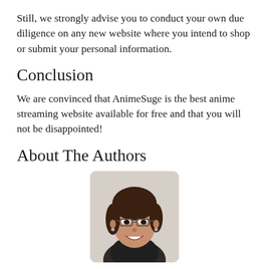Still, we strongly advise you to conduct your own due diligence on any new website where you intend to shop or submit your personal information.
Conclusion
We are convinced that AnimeSuge is the best anime streaming website available for free and that you will not be disappointed!
About The Authors
[Figure (photo): Portrait photo of a smiling Asian woman with glasses and dark hair pulled back, wearing a dark top, rounded rectangle crop.]